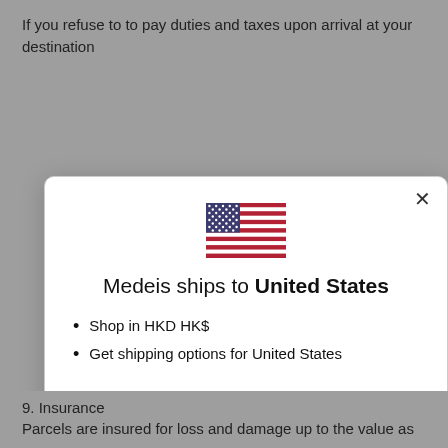If you refuse to to pay duties and taxes upon arrival at your destination
[Figure (screenshot): Modal dialog showing US flag, 'Medeis ships to United States', bullet points for HKD currency and shipping options, a 'Shop now' button, and a 'Change shipping country' link]
9. Insurance
Parcels are insured for loss and damage up to the value as